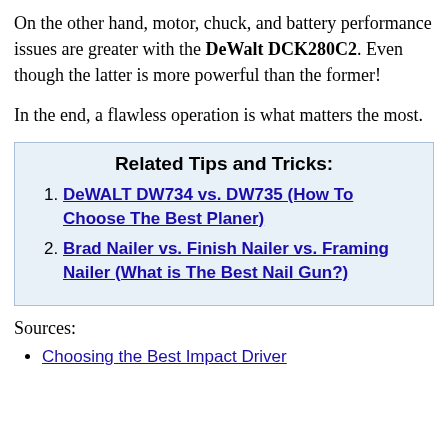On the other hand, motor, chuck, and battery performance issues are greater with the DeWalt DCK280C2. Even though the latter is more powerful than the former!
In the end, a flawless operation is what matters the most.
Related Tips and Tricks:
DeWALT DW734 vs. DW735 (How To Choose The Best Planer)
Brad Nailer vs. Finish Nailer vs. Framing Nailer (What is The Best Nail Gun?)
Sources:
Choosing the Best Impact Driver